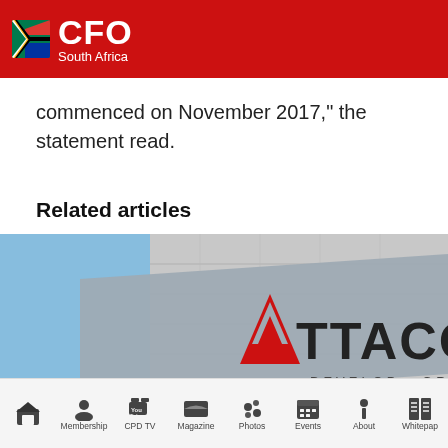CFO South Africa
commenced on November 2017," the statement read.
Related articles
[Figure (photo): ATTACQ building signage with tagline DEVELOP GROW against concrete wall and blue sky background]
Home | Membership | CPD TV | Magazine | Photos | Events | About | Whitepaper